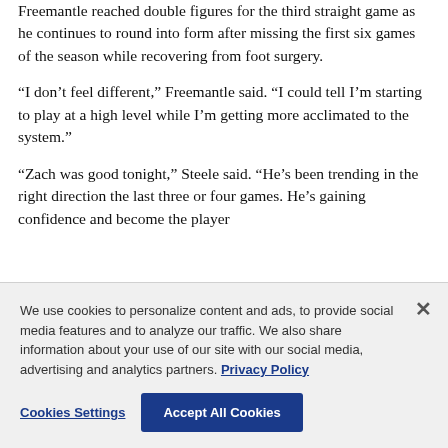Freemantle reached double figures for the third straight game as he continues to round into form after missing the first six games of the season while recovering from foot surgery.
“I don’t feel different,” Freemantle said. “I could tell I’m starting to play at a high level while I’m getting more acclimated to the system.”
“Zach was good tonight,” Steele said. “He’s been trending in the right direction the last three or four games. He’s gaining confidence and become the player
We use cookies to personalize content and ads, to provide social media features and to analyze our traffic. We also share information about your use of our site with our social media, advertising and analytics partners. Privacy Policy